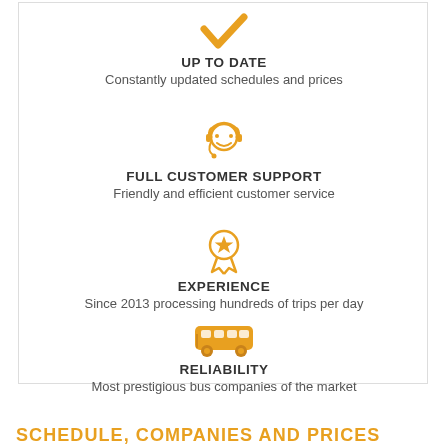[Figure (infographic): Checkmark icon in gold/amber color representing 'Up to Date']
UP TO DATE
Constantly updated schedules and prices
[Figure (infographic): Headset/customer support icon in gold/amber color]
FULL CUSTOMER SUPPORT
Friendly and efficient customer service
[Figure (infographic): Award/medal icon with star in gold/amber color]
EXPERIENCE
Since 2013 processing hundreds of trips per day
[Figure (infographic): Bus icon in gold/amber color]
RELIABILITY
Most prestigious bus companies of the market
SCHEDULE, COMPANIES AND PRICES